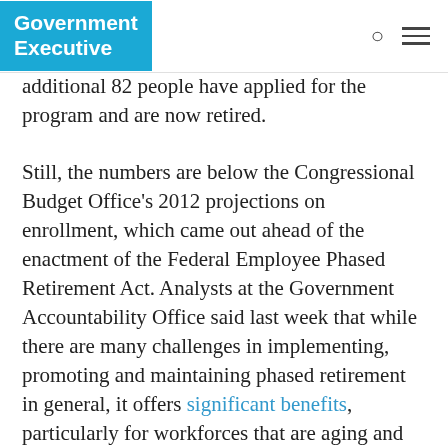Government Executive
additional 82 people have applied for the program and are now retired.
Still, the numbers are below the Congressional Budget Office's 2012 projections on enrollment, which came out ahead of the enactment of the Federal Employee Phased Retirement Act. Analysts at the Government Accountability Office said last week that while there are many challenges in implementing, promoting and maintaining phased retirement in general, it offers significant benefits, particularly for workforces that are aging and highly skilled.
Phased retirement allows older workers to reduce their hours while continuing to work to ease the transition from